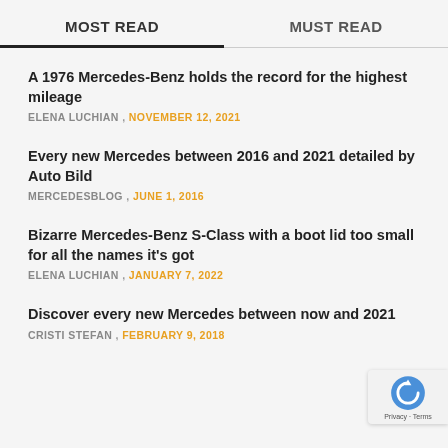MOST READ
MUST READ
A 1976 Mercedes-Benz holds the record for the highest mileage
ELENA LUCHIAN , NOVEMBER 12, 2021
Every new Mercedes between 2016 and 2021 detailed by Auto Bild
MERCEDESBLOG , JUNE 1, 2016
Bizarre Mercedes-Benz S-Class with a boot lid too small for all the names it's got
ELENA LUCHIAN , JANUARY 7, 2022
Discover every new Mercedes between now and 2021
CRISTI STEFAN , FEBRUARY 9, 2018